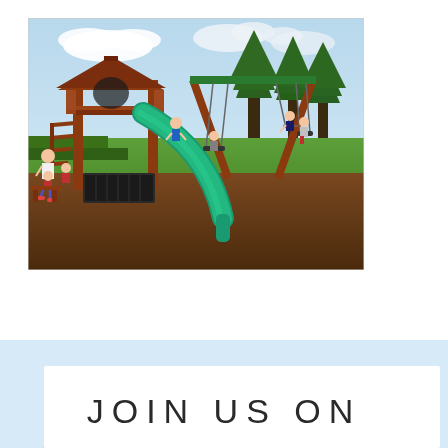[Figure (photo): Outdoor wooden playground/swing set with a red-brown tower structure, green tube slide, swings, and children playing. Set on wood chip/mulch ground with green grass and trees in background under partly cloudy sky.]
JOIN US ON